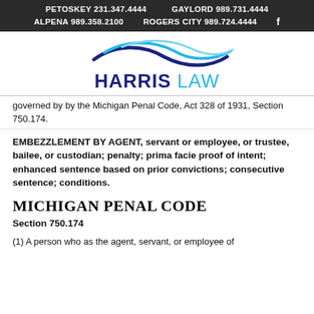PETOSKEY 231.347.4444    GAYLORD 989.731.4444    ALPENA 989.358.2100    ROGERS CITY 989.724.4444
[Figure (logo): Harris Law logo with wave graphic above text reading HARRIS LAW]
governed by by the Michigan Penal Code, Act 328 of 1931, Section 750.174.
EMBEZZLEMENT BY AGENT, servant or employee, or trustee, bailee, or custodian; penalty; prima facie proof of intent; enhanced sentence based on prior convictions; consecutive sentence; conditions.
MICHIGAN PENAL CODE
Section 750.174
(1) A person who as the agent, servant, or employee of